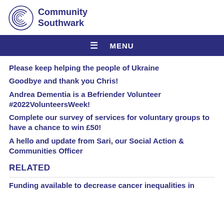[Figure (logo): Community Southwark logo with circular C icon and bold text]
≡ MENU
Please keep helping the people of Ukraine
Goodbye and thank you Chris!
Andrea Dementia is a Befriender Volunteer #2022VolunteersWeek!
Complete our survey of services for voluntary groups to have a chance to win £50!
A hello and update from Sari, our Social Action & Communities Officer
RELATED
Funding available to decrease cancer inequalities in